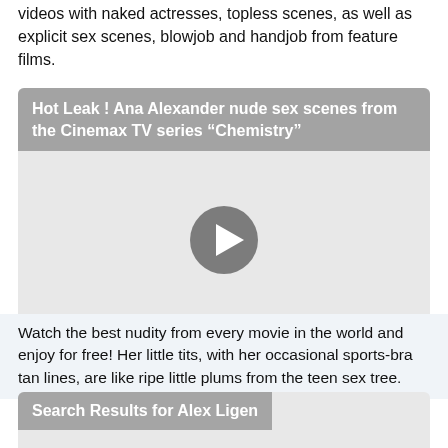videos with naked actresses, topless scenes, as well as explicit sex scenes, blowjob and handjob from feature films.
Hot Leak ! Ana Alexander nude sex scenes from the Cinemax TV series “Chemistry”
[Figure (screenshot): Video player thumbnail with a grey play button circle in the center on a light grey background]
Watch the best nudity from every movie in the world and enjoy for free! Her little tits, with her occasional sports-bra tan lines, are like ripe little plums from the teen sex tree.
Search Results for Alex Ligen